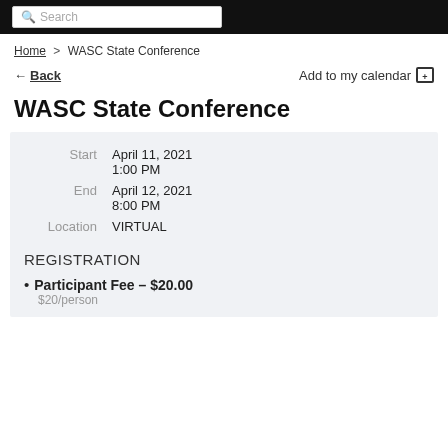Search
Home > WASC State Conference
Back   Add to my calendar
WASC State Conference
| Label | Value |
| --- | --- |
| Start | April 11, 2021
1:00 PM |
| End | April 12, 2021
8:00 PM |
| Location | VIRTUAL |
REGISTRATION
Participant Fee – $20.00
$20/person